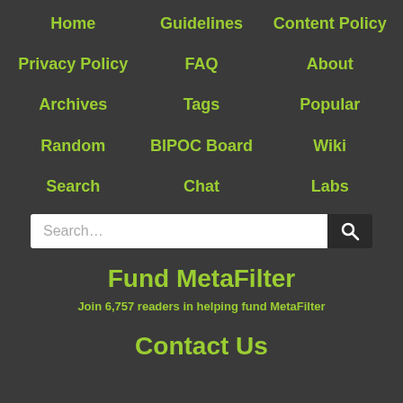Home
Guidelines
Content Policy
Privacy Policy
FAQ
About
Archives
Tags
Popular
Random
BIPOC Board
Wiki
Search
Chat
Labs
Fund MetaFilter
Join 6,757 readers in helping fund MetaFilter
Contact Us